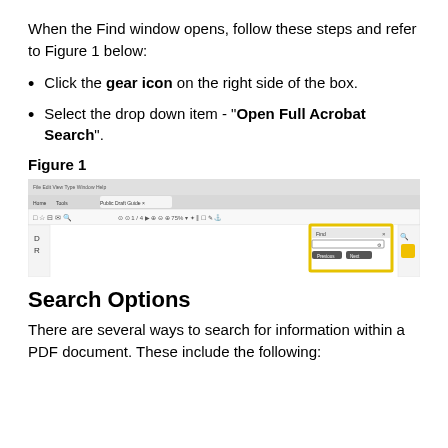When the Find window opens, follow these steps and refer to Figure 1 below:
Click the gear icon on the right side of the box.
Select the drop down item - "Open Full Acrobat Search".
Figure 1
[Figure (screenshot): Screenshot of Adobe Acrobat showing the Find toolbar/window highlighted with a yellow border in the upper right of the application interface.]
Search Options
There are several ways to search for information within a PDF document. These include the following: